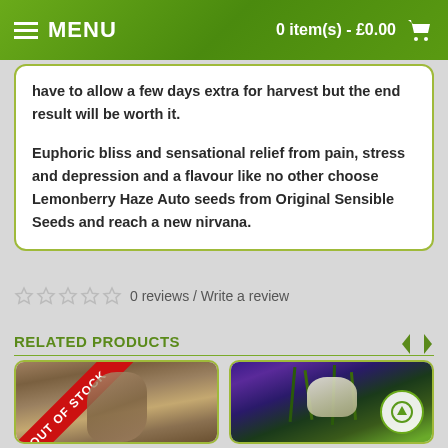MENU  0 item(s) - £0.00
have to allow a few days extra for harvest but the end result will be worth it.

Euphoric bliss and sensational relief from pain, stress and depression and a flavour like no other choose Lemonberry Haze Auto seeds from Original Sensible Seeds and reach a new nirvana.
0 reviews / Write a review
RELATED PRODUCTS
[Figure (photo): Cannabis bud photo with OUT OF STOCK ribbon overlay]
[Figure (photo): Cannabis bud photo with green/purple background]